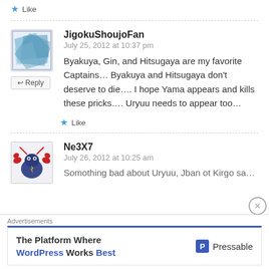Like
JigokuShoujoFan
July 25, 2012 at 10:37 pm
Byakuya, Gin, and Hitsugaya are my favorite Captains… Byakuya and Hitsugaya don't deserve to die…. I hope Yama appears and kills these pricks…. Uryuu needs to appear too…
Like
Ne3X7
July 26, 2012 at 10:25 am
Something bad about Uryuu, Jban ot Kirgo sa…
Advertisements
The Platform Where WordPress Works Best — Pressable